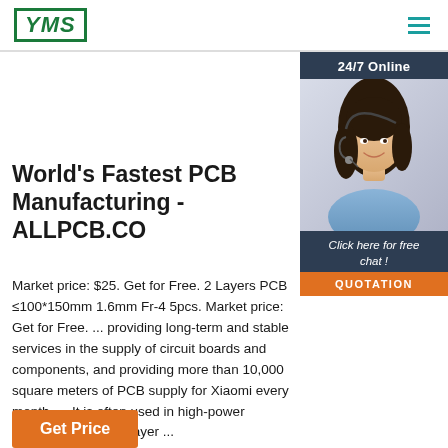[Figure (logo): YMS logo in green border with italic bold text]
[Figure (illustration): Hamburger menu icon with three teal horizontal lines]
[Figure (photo): 24/7 Online chat widget with woman wearing headset and dark navy background. Includes 'Click here for free chat!' CTA and orange QUOTATION button.]
World's Fastest PCB Manufacturing - ALLPCB.CO
Market price: $25. Get for Free. 2 Layers PCB ≤100*150mm 1.6mm Fr-4 5pcs. Market price: Get for Free. ... providing long-term and stable services in the supply of circuit boards and components, and providing more than 10,000 square meters of PCB supply for Xiaomi every month. ... It is often used in high-power equipment. Double-layer ...
Get Price